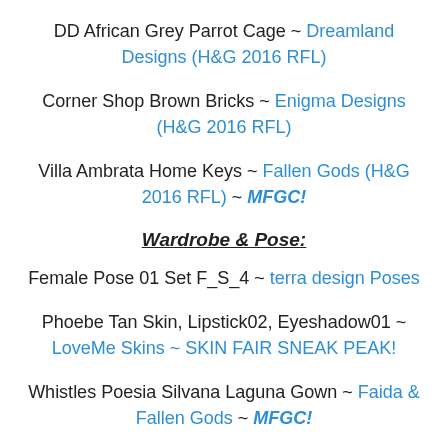DD African Grey Parrot Cage ~ Dreamland Designs (H&G 2016 RFL)
Corner Shop Brown Bricks ~ Enigma Designs (H&G 2016 RFL)
Villa Ambrata Home Keys ~ Fallen Gods (H&G 2016 RFL) ~ MFGC!
Wardrobe & Pose:
Female Pose 01 Set F_S_4 ~ terra design Poses
Phoebe Tan Skin, Lipstick02, Eyeshadow01 ~ LoveMe Skins ~ SKIN FAIR SNEAK PEAK!
Whistles Poesia Silvana Laguna Gown ~ Faida & Fallen Gods ~ MFGC!